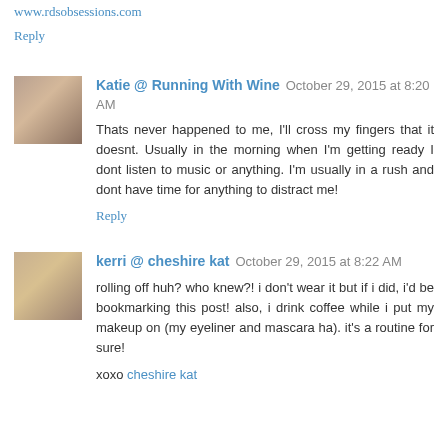www.rdsobsessions.com
Reply
Katie @ Running With Wine  October 29, 2015 at 8:20 AM
Thats never happened to me, I'll cross my fingers that it doesnt. Usually in the morning when I'm getting ready I dont listen to music or anything. I'm usually in a rush and dont have time for anything to distract me!
Reply
kerri @ cheshire kat  October 29, 2015 at 8:22 AM
rolling off huh? who knew?! i don't wear it but if i did, i'd be bookmarking this post! also, i drink coffee while i put my makeup on (my eyeliner and mascara ha). it's a routine for sure!
xoxo cheshire kat